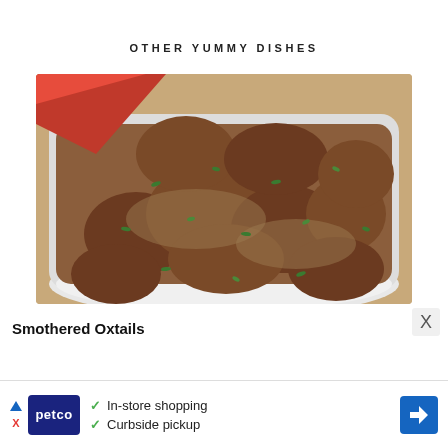OTHER YUMMY DISHES
[Figure (photo): A white bowl filled with smothered oxtails, chunks of braised meat in a thick sauce, garnished with chopped fresh parsley/cilantro, with a red cloth napkin visible in the top left corner.]
Smothered Oxtails
[Figure (infographic): Advertisement banner for Petco showing: navigation triangle icon, Petco logo in dark blue, checkmarks for 'In-store shopping' and 'Curbside pickup', and a blue diamond navigation arrow on the right. An X close button appears at top right of the ad area.]